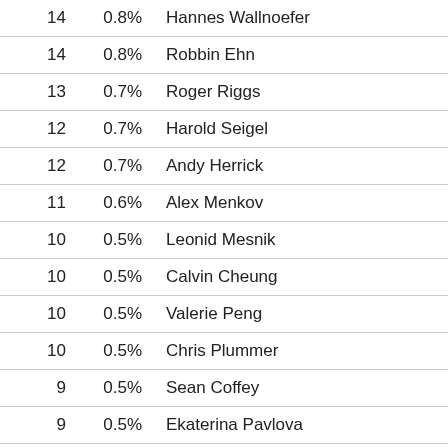| Count | Percent | Name |
| --- | --- | --- |
| 14 | 0.8% | Hannes Wallnoefer |
| 14 | 0.8% | Robbin Ehn |
| 13 | 0.7% | Roger Riggs |
| 12 | 0.7% | Harold Seigel |
| 12 | 0.7% | Andy Herrick |
| 11 | 0.6% | Alex Menkov |
| 10 | 0.5% | Leonid Mesnik |
| 10 | 0.5% | Calvin Cheung |
| 10 | 0.5% | Valerie Peng |
| 10 | 0.5% | Chris Plummer |
| 9 | 0.5% | Sean Coffey |
| 9 | 0.5% | Ekaterina Pavlova |
| 9 | 0.5% | Magnus Ihse Bursie |
| 9 | 0.5% | Aleksej Efimov |
| 9 | 0.5% | Daniil Titov |
| 8 | 0.4% | Tom Rodriguez |